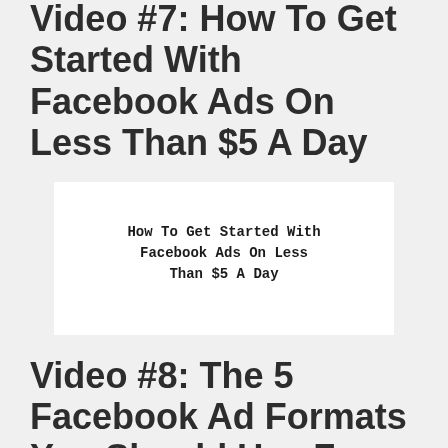Video #7: How To Get Started With Facebook Ads On Less Than $5 A Day
[Figure (screenshot): White thumbnail card with bold text: How To Get Started With Facebook Ads On Less Than $5 A Day]
Video #8: The 5 Facebook Ad Formats You Should Use For Your Online